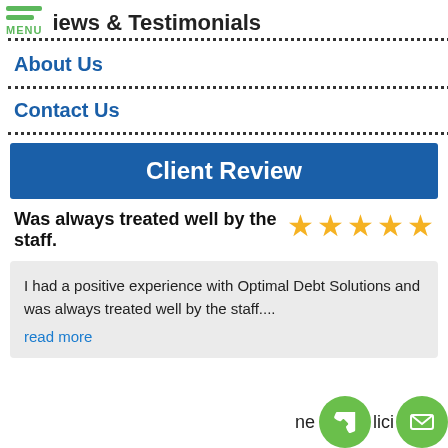iews & Testimonials
About Us
Contact Us
Client Review
Was always treated well by the staff.
I had a positive experience with Optimal Debt Solutions and was always treated well by the staff.... read more